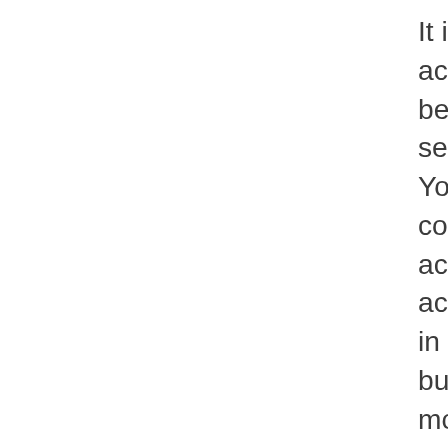It is actually relatively simple to start an accounting company. All you need to have to begin is an on the internet bookkeeping services account and an internet connection. You can either select to make use of the companies of a neighborhood or online accountant. Utilizing a neighborhood accountant enables you to be straight gotten in touch with your accounting professional, but an online accountant might be actually more convenient for those who don't wish to wait on accept their accounting professional. It is actually ideal to start out along with a virtual accountant if you are only starting out. The observing are actually the actions to get started along with a digital accountant:
Once you've chosen a digital bookkeeper, you'll need to have to authorize a deal along with them. Normally, this will certainly consist of accessibility to their accountancy device and also data bank, QuickBooks program like quickbooks. Some accounting professionals supply their solutions on a membership manner, which functions effectively if you are actually only getting